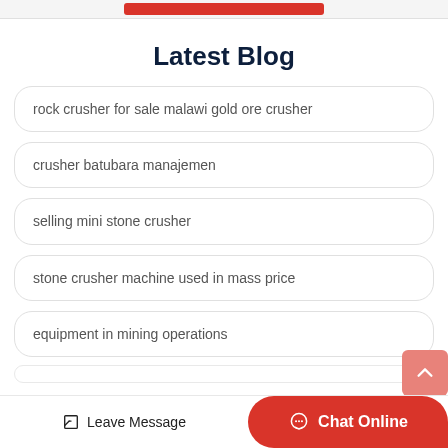Latest Blog
rock crusher for sale malawi gold ore crusher
crusher batubara manajemen
selling mini stone crusher
stone crusher machine used in mass price
equipment in mining operations